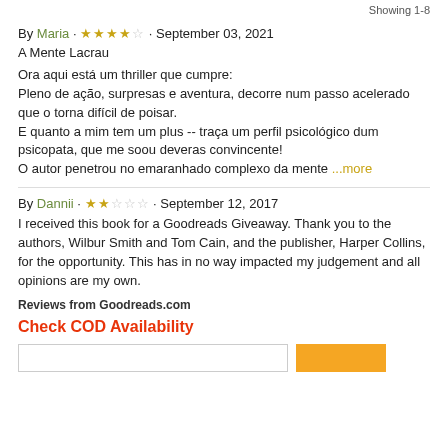Showing 1-8
By Maria · ★★★★☆ · September 03, 2021
A Mente Lacrau
Ora aqui está um thriller que cumpre:
Pleno de ação, surpresas e aventura, decorre num passo acelerado que o torna difícil de poisar.
E quanto a mim tem um plus -- traça um perfil psicológico dum psicopata, que me soou deveras convincente!
O autor penetrou no emaranhado complexo da mente ...more
By Dannii · ★★☆☆☆ · September 12, 2017
I received this book for a Goodreads Giveaway. Thank you to the authors, Wilbur Smith and Tom Cain, and the publisher, Harper Collins, for the opportunity. This has in no way impacted my judgement and all opinions are my own.
Reviews from Goodreads.com
Check COD Availability